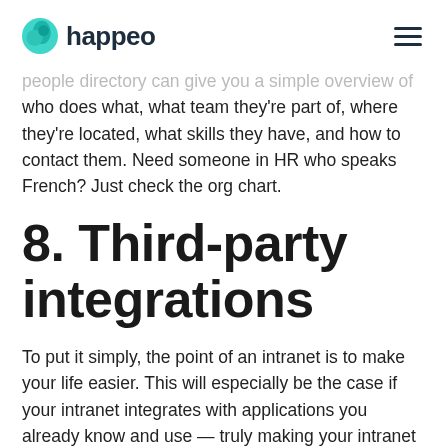happeo
people directory can give you a simple overview of who does what, what team they're part of, where they're located, what skills they have, and how to contact them. Need someone in HR who speaks French? Just check the org chart.
8. Third-party integrations
To put it simply, the point of an intranet is to make your life easier. This will especially be the case if your intranet integrates with applications you already know and use — truly making your intranet the central hub